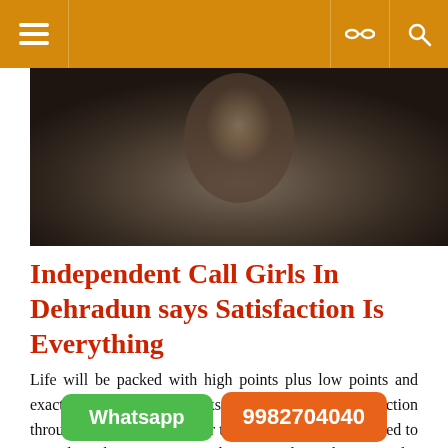Navigation bar with hamburger menu, settings icon, and search icon
[Figure (photo): Hero image showing a blurred/dark background photo, likely a portrait]
Independent Call Girls In Dehradun says Satisfaction Is Everything
Life will be packed with high points plus low points and exactly how we make tracks within the opposite direction through those good and poor times. More often compared to not altogether concerning the survival or the particular fittest, High Profile Independent Call Girls In Dehradun we attract in to extend periods of office work. Prolonged stretches of workplace work may lead us to financial change yet our very us don't get any stamina
Whatsapp   9982704040